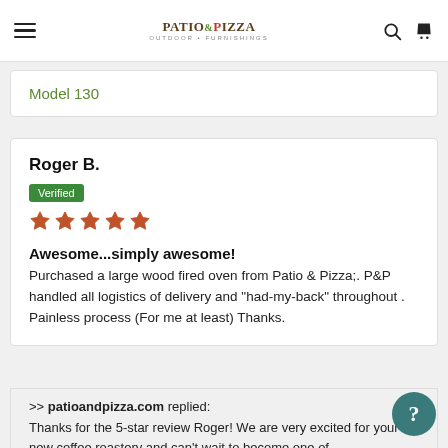Patio & Pizza Outdoor Furnishings — navigation bar with menu, logo, search, and cart icons
Model 130
Roger B.
Verified
[Figure (infographic): Five orange star rating icons indicating 5 out of 5 stars]
Awesome...simply awesome! Purchased a large wood fired oven from Patio & Pizza;. P&P handled all logistics of delivery and "had-my-back" throughout . Painless process (For me at least) Thanks.
>> patioandpizza.com replied: Thanks for the 5-star review Roger! We are very excited for your new coffee roastery and can't wait to become one of